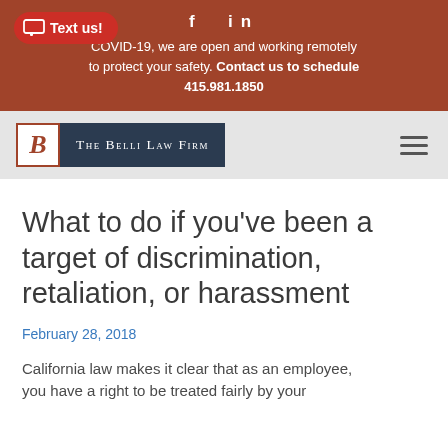COVID-19, we are open and working remotely to protect your safety. Contact us to schedule 415.981.1850
[Figure (logo): The Belli Law Firm logo — dark navy box with firm name in small-caps serif white text, preceded by a bordered italic B in rust/red]
What to do if you've been a target of discrimination, retaliation, or harassment
February 28, 2018
California law makes it clear that as an employee, you have a right to be treated fairly by your